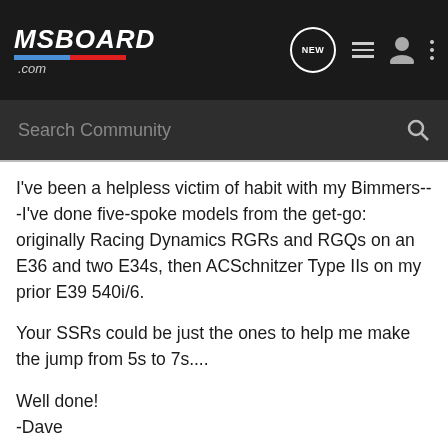MSBOARD.COM
I've been a helpless victim of habit with my Bimmers---I've done five-spoke models from the get-go: originally Racing Dynamics RGRs and RGQs on an E36 and two E34s, then ACSchnitzer Type IIs on my prior E39 540i/6.
Your SSRs could be just the ones to help me make the jump from 5s to 7s....
Well done!
-Dave
BOTH SOLD!!
'00 Carbon Black/Black All-Leather/Sportive